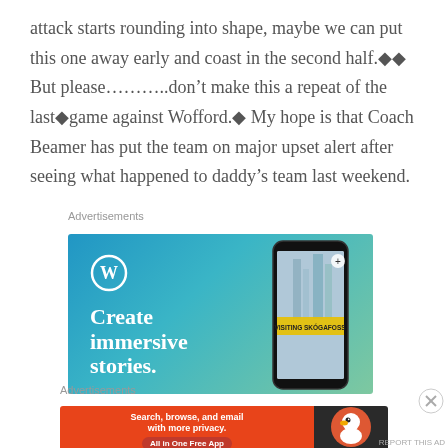attack starts rounding into shape, maybe we can put this one away early and coast in the second half.ï¿½ï¿½ But please………..don’t make this a repeat of the lastï¿½game against Wofford.ï¿½ My hope is that Coach Beamer has put the team on major upset alert after seeing what happened to daddy’s team last weekend.
Advertisements
[Figure (illustration): WordPress advertisement: blue-green gradient background with WordPress logo (W in circle), text 'Create immersive stories.' in white, and a phone mockup showing 'VISITING SKOGAFOSS' with a waterfall photo]
Advertisements
[Figure (illustration): DuckDuckGo advertisement: orange left side with text 'Search, browse, and email with more privacy. All in One Free App', dark right side with DuckDuckGo logo]